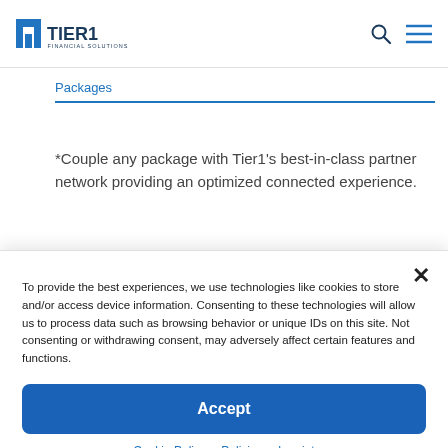Tier1 Financial Solutions
Packages
*Couple any package with Tier1's best-in-class partner network providing an optimized connected experience.
To provide the best experiences, we use technologies like cookies to store and/or access device information. Consenting to these technologies will allow us to process data such as browsing behavior or unique IDs on this site. Not consenting or withdrawing consent, may adversely affect certain features and functions.
Accept
Cookie Policy   Policies   Imprint